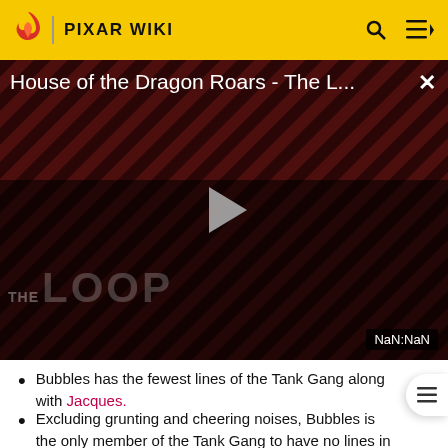PIXAR WIKI
[Figure (screenshot): Video player showing 'House of the Dragon Roars - The L...' with play button, diagonal stripe background, THE LOOP watermark, and NaN:NaN time display]
Bubbles has the fewest lines of the Tank Gang along with Jacques.
Excluding grunting and cheering noises, Bubbles is the only member of the Tank Gang to have no lines in Finding Dory.